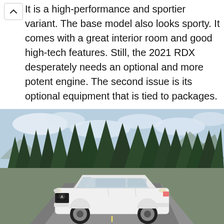It is a high-performance and sportier variant. The base model also looks sporty. It comes with a great interior room and good high-tech features. Still, the 2021 RDX desperately needs an optional and more potent engine. The second issue is its optional equipment that is tied to packages.
[Figure (photo): A white Acura SUV driving on a road with tall evergreen trees and mountains in the background. A red 'TOP' button with an upward chevron arrow is overlaid in the upper-right area of the image.]